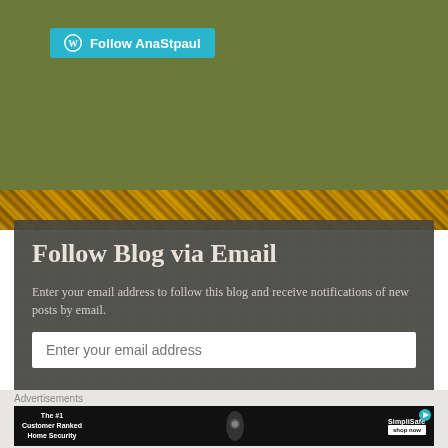[Figure (screenshot): WordPress Follow AnaStpaul button in cyan/teal color at top of page]
Follow Blog via Email
Enter your email address to follow this blog and receive notifications of new posts by email.
[Figure (screenshot): Email input field with placeholder text 'Enter your email address']
[Figure (screenshot): FOLLOW button (partially visible) and close X button]
Advertisements
[Figure (screenshot): SimpliSafe advertisement banner: 'The #1 Customer Ranked Home Security' with shop now button]